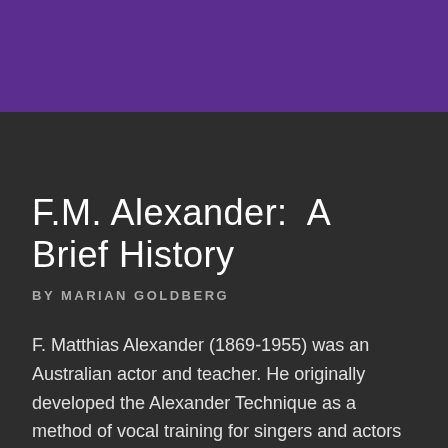F.M. Alexander:  A Brief History
BY MARIAN GOLDBERG
F. Matthias Alexander (1869-1955) was an Australian actor and teacher. He originally developed the Alexander Technique as a method of vocal training for singers and actors in the 1890s. While Alexander was developing his method of voice training, he realized that the basis for all successful vocal education was an efficiently and naturally functioning respiratory mechanism. So, in teaching voice, Alexander focused primarily on helping the breathing mechanism to function more effectively. Because of his focus on